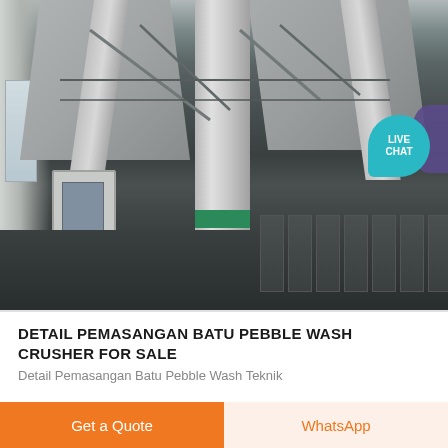[Figure (photo): Industrial interior photo showing a large mineral processing or crushing plant with a central vertical metal pipe/column, funnel-shaped hoppers at the top, a control panel box on the left side, dark storage containers on the right, structural steel framework, and a partial arch structure on the left. A 'LIVE CHAT' bubble is overlaid in the top-right corner.]
DETAIL PEMASANGAN BATU PEBBLE WASH CRUSHER FOR SALE
Detail Pemasangan Batu Pebble Wash Teknik
Get a Quote
WhatsApp